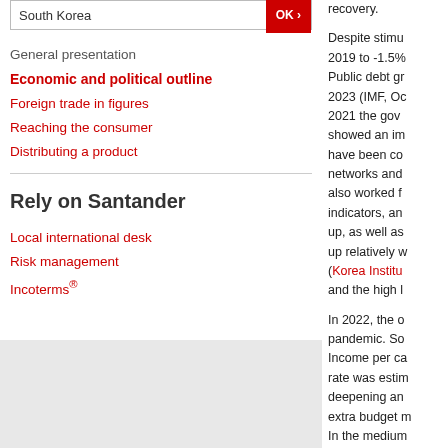South Korea
General presentation
Economic and political outline
Foreign trade in figures
Reaching the consumer
Distributing a product
Rely on Santander
Local international desk
Risk management
Incoterms®
recovery.
Despite stimu… 2019 to -1.5%… Public debt gr… 2023 (IMF, Oc… 2021 the gove… showed an im… have been co… networks and… also worked f… indicators, an… up, as well as… up relatively w… (Korea Institu… and the high l…
In 2022, the c… pandemic. So… Income per ca… rate was estim… deepening an… extra budget m… In the medium…